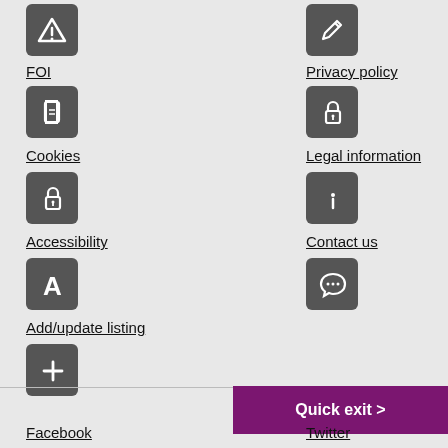[Figure (illustration): Warning triangle icon in dark rounded square]
[Figure (illustration): Pen/edit icon in dark rounded square]
FOI
Privacy policy
[Figure (illustration): Document/page icon in dark rounded square]
[Figure (illustration): Padlock icon in dark rounded square]
Cookies
Legal information
[Figure (illustration): Padlock icon in dark rounded square]
[Figure (illustration): Information 'i' icon in dark rounded square]
Accessibility
Contact us
[Figure (illustration): Letter A (accessibility) icon in dark rounded square]
[Figure (illustration): Speech bubble / chat icon in dark rounded square]
Add/update listing
[Figure (illustration): Plus (+) icon in dark rounded square]
Quick exit >
Facebook
Twitter